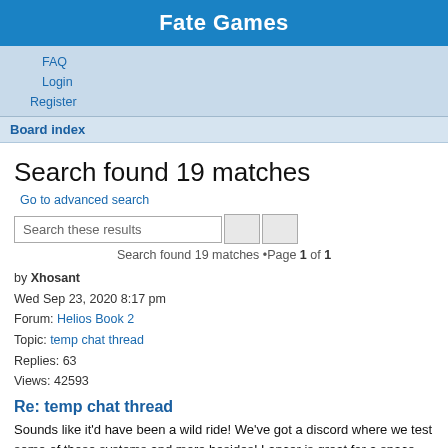Fate Games
FAQ
Login
Register
Board index
Search found 19 matches
Go to advanced search
Search found 19 matches •Page 1 of 1
by Xhosant
Wed Sep 23, 2020 8:17 pm
Forum: Helios Book 2
Topic: temp chat thread
Replies: 63
Views: 42593
Re: temp chat thread
Sounds like it'd have been a wild ride! We've got a discord where we test some of those systems and more besides! Lancer is great for a space mech game, and the Fragged series are quite neat (Fragged Aeternum in particular, for that lovely bloodborne style). For something particularly special (but t...
Jump to post